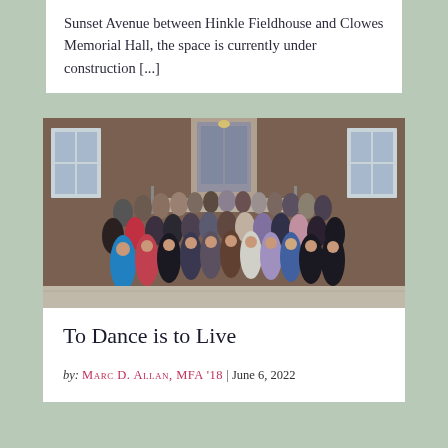Sunset Avenue between Hinkle Fieldhouse and Clowes Memorial Hall, the space is currently under construction [...]
[Figure (photo): Large group photo of approximately 50 adults standing in front of a brick building with a doorway and windows, taken outdoors.]
To Dance is to Live
by: Marc D. Allan, MFA '18 | June 6, 2022